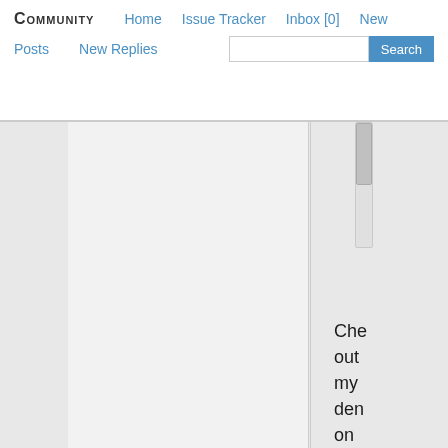COMMUNITY  Home  Issue Tracker  Inbox [0]  New Posts  New Replies  Search
[Figure (screenshot): Community forum webpage screenshot showing navigation bar with links: COMMUNITY, Home, Issue Tracker, Inbox [0], New, Posts, New Replies, and a search box with Search button. Below is a partially visible page content area with a white main column, a vertical divider, and a right sidebar that contains a scrollbar and partial text reading 'Che out my den on']
Che out my den on